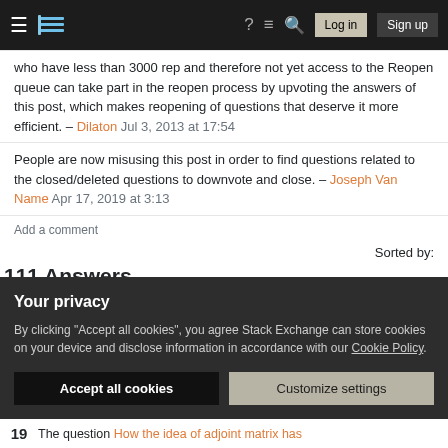Stack Exchange navigation bar with hamburger menu, logo, help, chat, search icons, Log in and Sign up buttons
who have less than 3000 rep and therefore not yet access to the Reopen queue can take part in the reopen process by upvoting the answers of this post, which makes reopening of questions that deserve it more efficient. – Dilaton Jul 3, 2013 at 17:54
People are now misusing this post in order to find questions related to the closed/deleted questions to downvote and close. – Joseph Van Name Apr 17, 2019 at 3:13
Add a comment
Sorted by:
111 Answers
Your privacy
By clicking "Accept all cookies", you agree Stack Exchange can store cookies on your device and disclose information in accordance with our Cookie Policy.
Accept all cookies  Customize settings
19  The question How the idea of adjoint matrix has